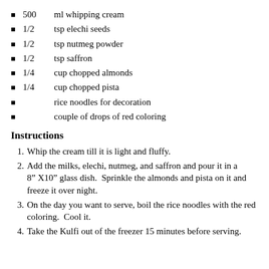500  ml whipping cream
1/2  tsp elechi seeds
1/2  tsp nutmeg powder
1/2  tsp saffron
1/4  cup chopped almonds
1/4  cup chopped pista
rice noodles for decoration
couple of drops of red coloring
Instructions
1. Whip the cream till it is light and fluffy.
2. Add the milks, elechi, nutmeg, and saffron and pour it in a  8” X10” glass dish.  Sprinkle the almonds and pista on it and freeze it over night.
3. On the day you want to serve, boil the rice noodles with the red coloring.  Cool it.
4. Take the Kulfi out of the freezer 15 minutes before serving.